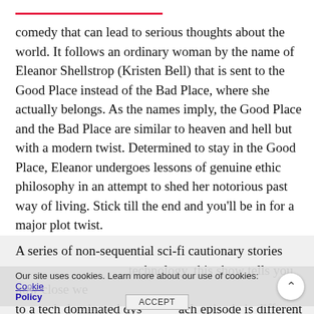comedy that can lead to serious thoughts about the world. It follows an ordinary woman by the name of Eleanor Shellstrop (Kristen Bell) that is sent to the Good Place instead of the Bad Place, where she actually belongs. As the names imply, the Good Place and the Bad Place are similar to heaven and hell but with a modern twist. Determined to stay in the Good Place, Eleanor undergoes lessons of genuine ethic philosophy in an attempt to shed her notorious past way of living. Stick till the end and you'll be in for a major plot twist.
“BLACK MIRROR” (2016)
A series of non-sequential sci-fi cautionary stories technology, this show tells you how close we to a tech dominated dys each episode is different